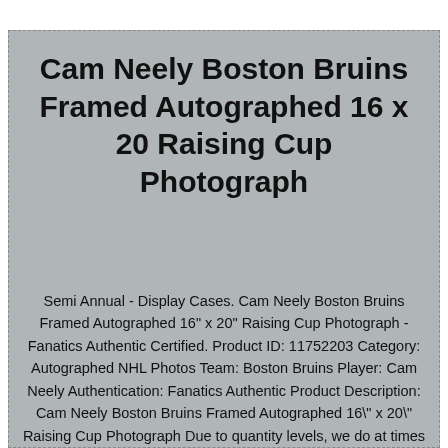Cam Neely Boston Bruins Framed Autographed 16 x 20 Raising Cup Photograph
Semi Annual - Display Cases. Cam Neely Boston Bruins Framed Autographed 16" x 20" Raising Cup Photograph - Fanatics Authentic Certified. Product ID: 11752203 Category: Autographed NHL Photos Team: Boston Bruins Player: Cam Neely Authentication: Fanatics Authentic Product Description: Cam Neely Boston Bruins Framed Autographed 16" x 20" Raising Cup Photograph Due to quantity levels, we do at times list a stock image of the product.